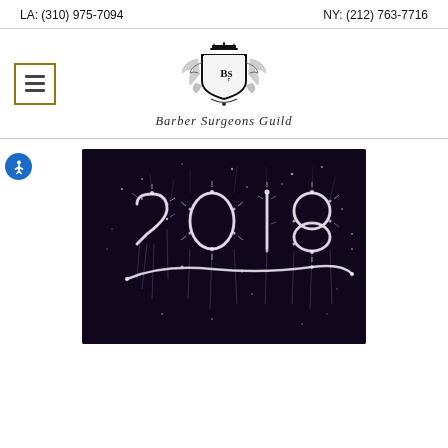LA: (310) 975-7094    NY: (212) 763-7716
[Figure (logo): Barber Surgeons Guild crest logo with ornate heraldic design and text 'Barber Surgeons Guild' below in italic script]
[Figure (photo): Dark background photo with '2018' written in sparkler light painting with glowing purple/white sparks]